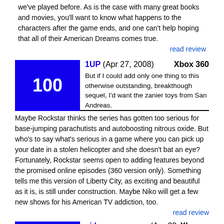we've played before. As is the case with many great books and movies, you'll want to know what happens to the characters after the game ends, and one can't help hoping that all of their American Dreams comes true.
read review
1UP (Apr 27, 2008)  Xbox 360
100
But if I could add only one thing to this otherwise outstanding, breakthough sequel, I'd want the zanier toys from San Andreas. Maybe Rockstar thinks the series has gotten too serious for base-jumping parachutists and autoboosting nitrous oxide. But who's to say what's serious in a game where you can pick up your date in a stolen helicopter and she doesn't bat an eye? Fortunately, Rockstar seems open to adding features beyond the promised online episodes (360 version only). Something tells me this version of Liberty City, as exciting and beautiful as it is, is still under construction. Maybe Niko will get a few new shows for his American TV addiction, too.
read review
videogamer.com (Apr 28, 2008)  Xbox 360
100
Slight problems aside, no-one old enough to play GTA 4 should pass it up. It's certainly a mature experience - in tone, violence and language - but that actually makes it even more unique. For all the controversy that Rockstar generates, GTA 4 has moved video games on to a point that most developers just won't be able to compete with. We all knew GTA 4 would be a great game and sell millions of copies, but I didn't expect it to shame pretty much every other game I've played this generation.